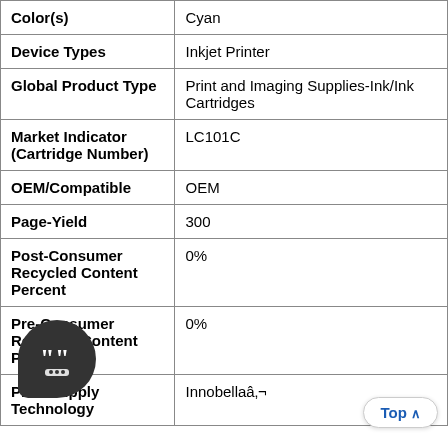| Attribute | Value |
| --- | --- |
| Color(s) | Cyan |
| Device Types | Inkjet Printer |
| Global Product Type | Print and Imaging Supplies-Ink/Ink Cartridges |
| Market Indicator (Cartridge Number) | LC101C |
| OEM/Compatible | OEM |
| Page-Yield | 300 |
| Post-Consumer Recycled Content Percent | 0% |
| Pre-Consumer Recycled Content Percent | 0% |
| Print Supply Technology | Innobellaâ‚¬ |